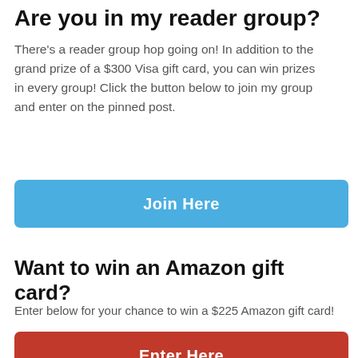Are you in my reader group?
There's a reader group hop going on! In addition to the grand prize of a $300 Visa gift card, you can win prizes in every group! Click the button below to join my group and enter on the pinned post.
[Figure (other): Blue button labeled 'Join Here']
Want to win an Amazon gift card?
Enter below for your chance to win a $225 Amazon gift card!
[Figure (other): Red button labeled 'Enter Here']